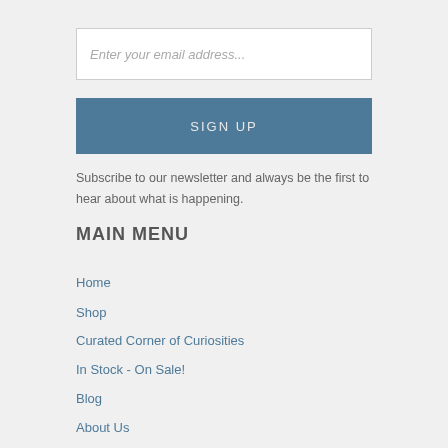Enter your email address...
SIGN UP
Subscribe to our newsletter and always be the first to hear about what is happening.
MAIN MENU
Home
Shop
Curated Corner of Curiosities
In Stock - On Sale!
Blog
About Us
Gallery
Media